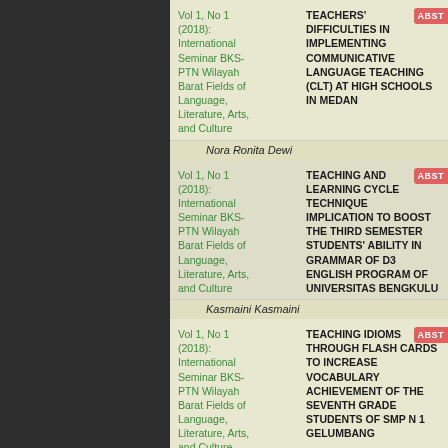Vol 1, No 1 (2018): International Seminar BKS-PTN Wilayah Barat Fields of Language, Literature, Arts, and Culture
TEACHERS' DIFFICULTIES IN IMPLEMENTING COMMUNICATIVE LANGUAGE TEACHING (CLT) AT HIGH SCHOOLS IN MEDAN
Nora Ronita Dewi
Vol 1, No 1 (2018): International Seminar BKS-PTN Wilayah Barat Fields of Language, Literature, Arts, and Culture
TEACHING AND LEARNING CYCLE TECHNIQUE IMPLICATION TO BOOST THE THIRD SEMESTER STUDENTS' ABILITY IN GRAMMAR OF D3 ENGLISH PROGRAM OF UNIVERSITAS BENGKULU
Kasmaini Kasmaini
Vol 1, No 1 (2018): International Seminar BKS-PTN Wilayah Barat Fields of Language, Literature, Arts, and Culture
TEACHING IDIOMS THROUGH FLASH CARDS TO INCREASE VOCABULARY ACHIEVEMENT OF THE SEVENTH GRADE STUDENTS OF SMP N 1 GELUMBANG